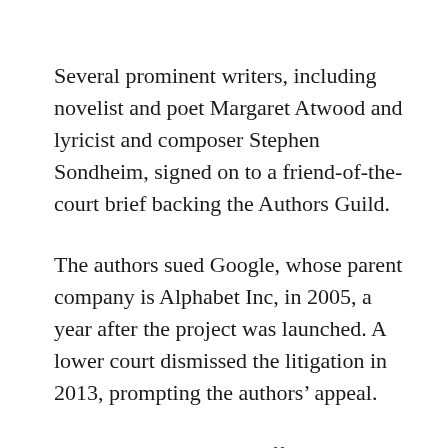Several prominent writers, including novelist and poet Margaret Atwood and lyricist and composer Stephen Sondheim, signed on to a friend-of-the-court brief backing the Authors Guild.
The authors sued Google, whose parent company is Alphabet Inc, in 2005, a year after the project was launched. A lower court dismissed the litigation in 2013, prompting the authors' appeal.
Google argued that the effort would actually boost book sales by making it easier for readers to find works, while introducing them to books they might not otherwise have seen.